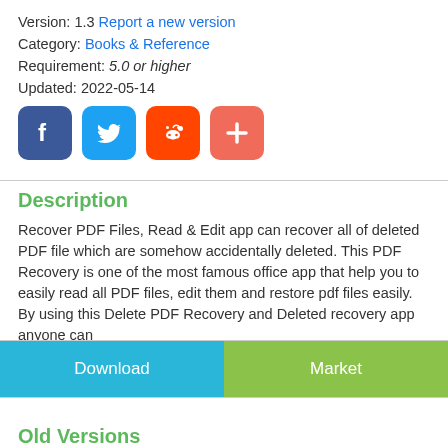Version: 1.3 Report a new version
Category: Books & Reference
Requirement: 5.0 or higher
Updated: 2022-05-14
[Figure (infographic): Four social media share buttons: Facebook (blue), Twitter (light blue), Reddit (orange), and a plus/add button (red-orange)]
Description
Recover PDF Files, Read & Edit app can recover all of deleted PDF file which are somehow accidentally deleted. This PDF Recovery is one of the most famous office app that help you to easily read all PDF files, edit them and restore pdf files easily. By using this Delete PDF Recovery and Deleted recovery app anyone can restore all deleted pdf file from smart phone and easily recover documents
Download
Market
Old Versions